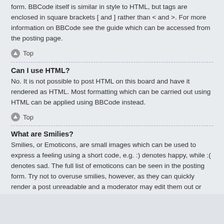form. BBCode itself is similar in style to HTML, but tags are enclosed in square brackets [ and ] rather than < and >. For more information on BBCode see the guide which can be accessed from the posting page.
↑ Top
Can I use HTML?
No. It is not possible to post HTML on this board and have it rendered as HTML. Most formatting which can be carried out using HTML can be applied using BBCode instead.
↑ Top
What are Smilies?
Smilies, or Emoticons, are small images which can be used to express a feeling using a short code, e.g. :) denotes happy, while :( denotes sad. The full list of emoticons can be seen in the posting form. Try not to overuse smilies, however, as they can quickly render a post unreadable and a moderator may edit them out or remove the post altogether. The board administrator may also have set a limit to the number of smilies you may use within a post.